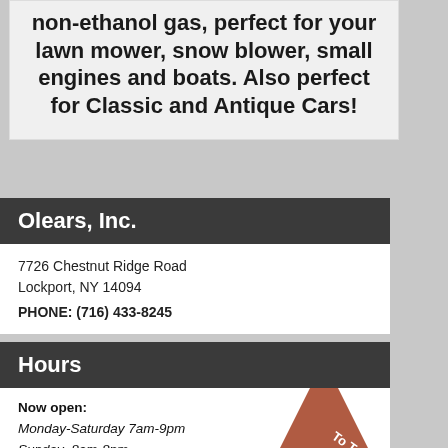non-ethanol gas, perfect for your lawn mower, snow blower, small engines and boats. Also perfect for Classic and Antique Cars!
Olears, Inc.
7726 Chestnut Ridge Road
Lockport, NY 14094
PHONE: (716) 433-8245
Hours
Now open:
Monday-Saturday 7am-9pm
Sunday  8am-8pm